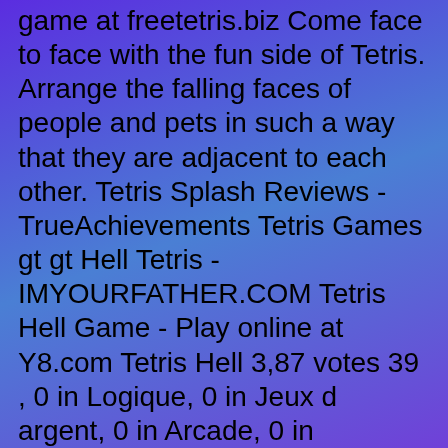game at freetetris.biz Come face to face with the fun side of Tetris. Arrange the falling faces of people and pets in such a way that they are adjacent to each other. Tetris Splash Reviews - TrueAchievements Tetris Games gt gt Hell Tetris - IMYOURFATHER.COM Tetris Hell Game - Play online at Y8.com Tetris Hell 3,87 votes 39 , 0 in Logique, 0 in Jeux d argent, 0 in Arcade, 0 in ducation. Category Logique, Jeux d argent, Arcade, ducation. Tetris Hell. From XKCD. Author JesperPosted on April 7. Now you can play it or try to as well http www.lingolux.com 2010 04 07 hell. Yiff in Hell Furfag The Tetris Liloet Memorial Society Last.fm Hell Tetris is based on an xkcd strip Hell which shows a Tetris game where the bottom of the playfield is rounded, making it very difficult. If the puck misses the paddle, it will reset in the middle and travel towards the paddle it missed. To complete this section, the